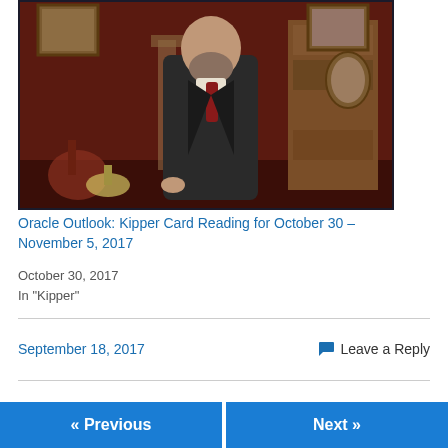[Figure (photo): A man in a dark Victorian-style coat and red tie standing in an ornate room with paintings on the wall and a bookcase in the background.]
Oracle Outlook: Kipper Card Reading for October 30 – November 5, 2017
October 30, 2017
In "Kipper"
September 18, 2017
Leave a Reply
« Previous
Next »